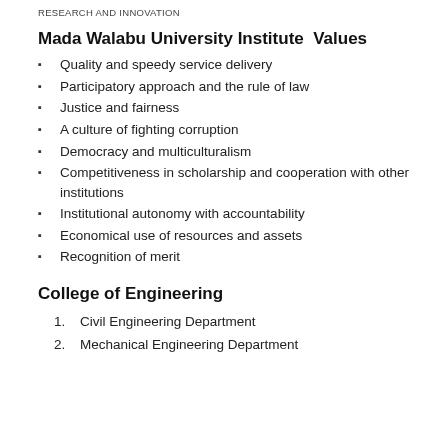RESEARCH AND INNOVATION
Mada Walabu University Institute  Values
Quality and speedy service delivery
Participatory approach and the rule of law
Justice and fairness
A culture of fighting corruption
Democracy and multiculturalism
Competitiveness in scholarship and cooperation with other institutions
Institutional autonomy with accountability
Economical use of resources and assets
Recognition of merit
College of Engineering
1. Civil Engineering Department
2. Mechanical Engineering Department